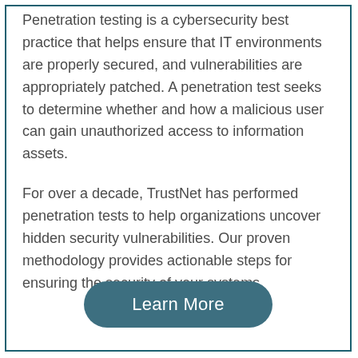Penetration testing is a cybersecurity best practice that helps ensure that IT environments are properly secured, and vulnerabilities are appropriately patched. A penetration test seeks to determine whether and how a malicious user can gain unauthorized access to information assets.
For over a decade, TrustNet has performed penetration tests to help organizations uncover hidden security vulnerabilities. Our proven methodology provides actionable steps for ensuring the security of your systems.
Learn More